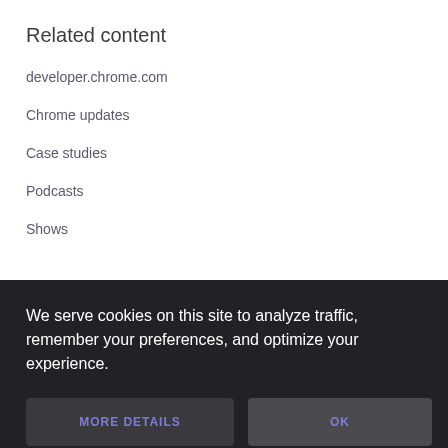Related content
developer.chrome.com
Chrome updates
Case studies
Podcasts
Shows
We serve cookies on this site to analyze traffic, remember your preferences, and optimize your experience.
MORE DETAILS
OK